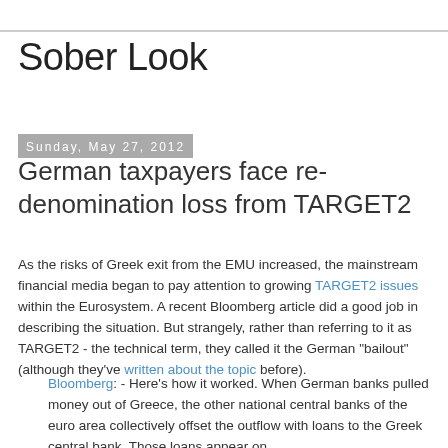Sober Look
Sunday, May 27, 2012
German taxpayers face re-denomination loss from TARGET2
As the risks of Greek exit from the EMU increased, the mainstream financial media began to pay attention to growing TARGET2 issues within the Eurosystem. A recent Bloomberg article did a good job in describing the situation. But strangely, rather than referring to it as TARGET2 - the technical term, they called it the German "bailout" (although they've written about the topic before).
Bloomberg: - Here's how it worked. When German banks pulled money out of Greece, the other national central banks of the euro area collectively offset the outflow with loans to the Greek central bank. Those loans appear on...